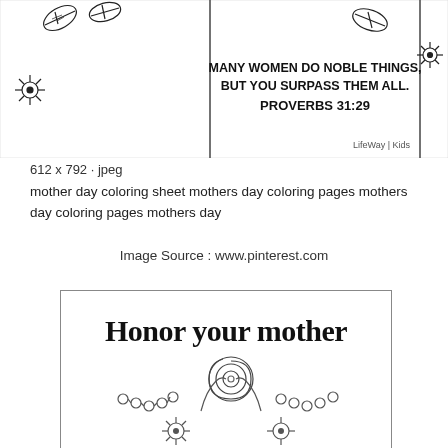[Figure (illustration): Mother's Day coloring page showing floral decorations with bold text reading 'MANY WOMEN DO NOBLE THINGS, BUT YOU SURPASS THEM ALL. PROVERBS 31:29' with LifeWay Kids branding]
612 x 792 · jpeg
mother day coloring sheet mothers day coloring pages mothers day coloring pages mothers day
Image Source : www.pinterest.com
[Figure (illustration): Coloring page with text 'Honor your mother' in bold decorative font, with floral swirl designs below including circles, spirals, and daisy flowers]